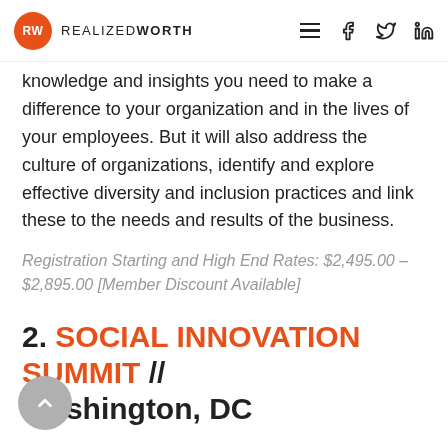RW REALIZEDWORTH [navigation icons: hamburger, Facebook, Twitter, LinkedIn]
knowledge and insights you need to make a difference to your organization and in the lives of your employees. But it will also address the culture of organizations, identify and explore effective diversity and inclusion practices and link these to the needs and results of the business.
Registration Starting and High End Rates: $2,495.00 – $2,895.00 [Member Discount Available]
2. SOCIAL INNOVATION SUMMIT // Washington, DC